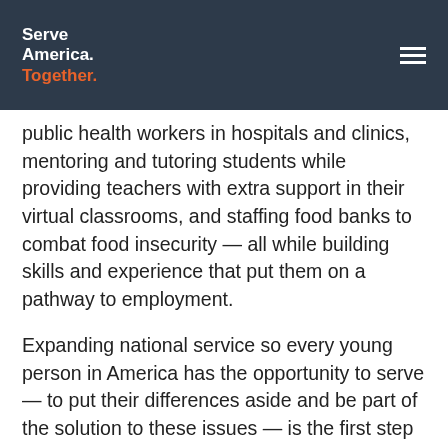Serve America. Together.
public health workers in hospitals and clinics, mentoring and tutoring students while providing teachers with extra support in their virtual classrooms, and staffing food banks to combat food insecurity — all while building skills and experience that put them on a pathway to employment.
Expanding national service so every young person in America has the opportunity to serve — to put their differences aside and be part of the solution to these issues — is the first step towards rebuilding our frayed and polarized society. Empowering young people with the chance to turn their idealism into action will not only strengthen our democracy but build a safer, more equitable, and more resilient